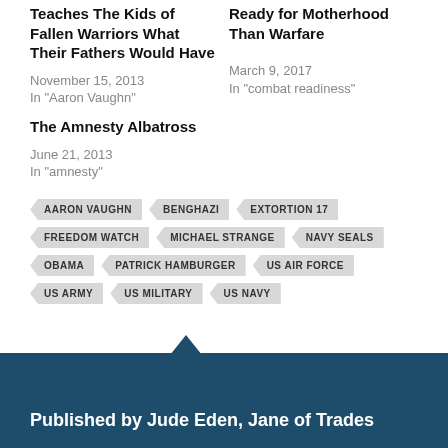Teaches The Kids of Fallen Warriors What Their Fathers Would Have
November 15, 2013
In "Aaron Vaughn"
Ready for Motherhood Than Warfare
March 9, 2017
In "combat readiness"
The Amnesty Albatross
June 21, 2013
In "amnesty"
AARON VAUGHN
BENGHAZI
EXTORTION 17
FREEDOM WATCH
MICHAEL STRANGE
NAVY SEALS
OBAMA
PATRICK HAMBURGER
US AIR FORCE
US ARMY
US MILITARY
US NAVY
Published by Jude Eden, Jane of Trades